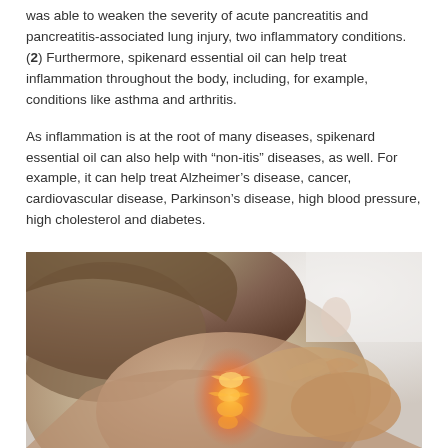was able to weaken the severity of acute pancreatitis and pancreatitis-associated lung injury, two inflammatory conditions. (2) Furthermore, spikenard essential oil can help treat inflammation throughout the body, including, for example, conditions like asthma and arthritis.
As inflammation is at the root of many diseases, spikenard essential oil can also help with “non-itis” diseases, as well. For example, it can help treat Alzheimer’s disease, cancer, cardiovascular disease, Parkinson’s disease, high blood pressure, high cholesterol and diabetes.
[Figure (photo): A person touching the back of their neck/shoulder area, with a glowing orange/yellow highlight over the spine/neck region suggesting inflammation or pain.]